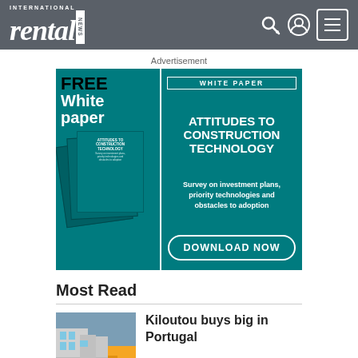International Rental News
Advertisement
[Figure (illustration): Advertisement for a free white paper titled 'Attitudes to Construction Technology' with a teal background, stacked booklets on the left, and a Download Now button.]
Most Read
Kiloutou buys big in Portugal